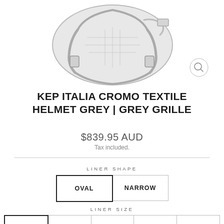[Figure (photo): Product photo of a Kep Italia Cromo Textile Helmet in grey with grey grille, shown as a partial view of the helmet with straps visible against a white background. A magnify/zoom icon is visible in the bottom right.]
KEP ITALIA CROMO TEXTILE HELMET GREY | GREY GRILLE
$839.95 AUD
Tax included.
LINER SHAPE
OVAL
NARROW
LINER SIZE